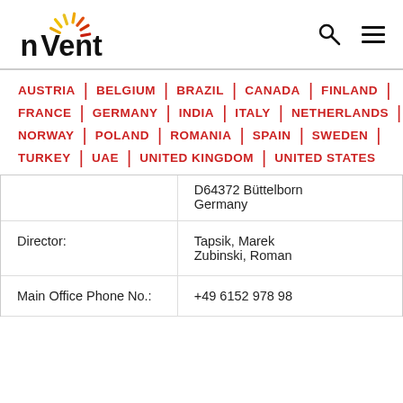nVent logo with search and menu icons
AUSTRIA | BELGIUM | BRAZIL | CANADA | FINLAND
FRANCE | GERMANY | INDIA | ITALY | NETHERLANDS
NORWAY | POLAND | ROMANIA | SPAIN | SWEDEN
TURKEY | UAE | UNITED KINGDOM | UNITED STATES
|  | D64372 Büttelborn
Germany |
| Director: | Tapsik, Marek
Zubinski, Roman |
| Main Office Phone No.: | +49 6152 978 98 |